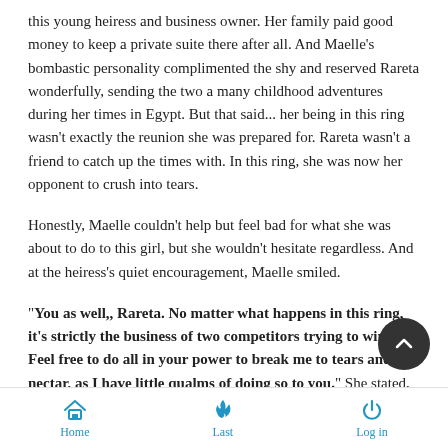this young heiress and business owner. Her family paid good money to keep a private suite there after all. And Maelle's bombastic personality complimented the shy and reserved Rareta wonderfully, sending the two a many childhood adventures during her times in Egypt. But that said... her being in this ring wasn't exactly the reunion she was prepared for. Rareta wasn't a friend to catch up the times with. In this ring, she was now her opponent to crush into tears.
Honestly, Maelle couldn't help but feel bad for what she was about to do to this girl, but she wouldn't hesitate regardless. And at the heiress's quiet encouragement, Maelle smiled.
"You as well,, Rareta. No matter what happens in this ring, it's strictly the business of two competitors trying to win. Feel free to do all in your power to break me to tears and nectar, as I have little qualms of doing so to you." She stated, her words holding a sharp tone. "That said... I'm rather surprised the shy
Home  Last  Log in